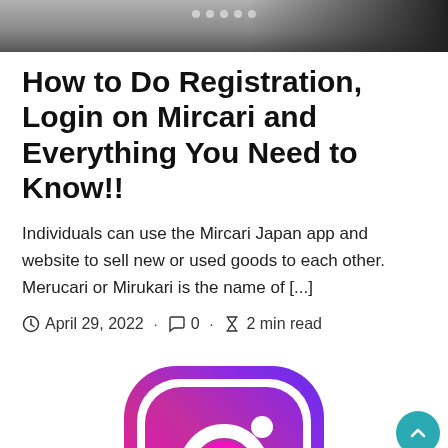[Figure (photo): Top image banner showing a blurred dark background with light dots]
How to Do Registration, Login on Mircari and Everything You Need to Know!!
Individuals can use the Mircari Japan app and website to sell new or used goods to each other. Merucari or Mirukari is the name of [...]
April 29, 2022 · 0 · 2 min read
[Figure (logo): Instagram logo - rounded square gradient icon with camera symbol in pink/magenta gradient]